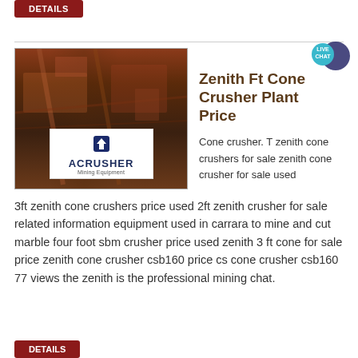[Figure (photo): Industrial cone crusher plant machinery with red metal framework and conveyor structures. ACRUSHER Mining Equipment logo overlay at bottom center.]
Zenith Ft Cone Crusher Plant Price
Cone crusher. T zenith cone crushers for sale zenith cone crusher for sale used 3ft zenith cone crushers price used 2ft zenith crusher for sale related information equipment used in carrara to mine and cut marble four foot sbm crusher price used zenith 3 ft cone for sale price zenith cone crusher csb160 price cs cone crusher csb160 77 views the zenith is the professional mining chat.